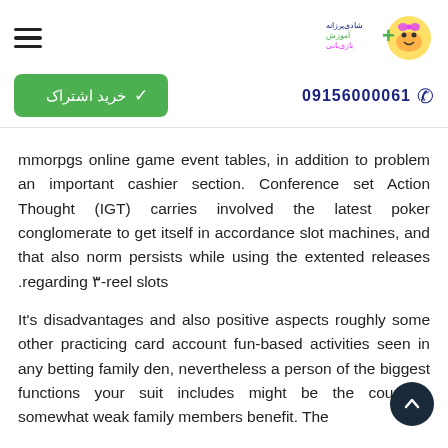hamburger menu | logo
خرید اشتراک   09156000061
mmorpgs online game event tables, in addition to problem an important cashier section. Conference set Action Thought (IGT) carries involved the latest poker conglomerate to get itself in accordance slot machines, and that also norm persists while using the extented releases .regarding ۳-reel slots
It's disadvantages and also positive aspects roughly some other practicing card account fun-based activities seen in any betting family den, nevertheless a person of the biggest functions your suit includes might be the country's somewhat weak family members benefit. The